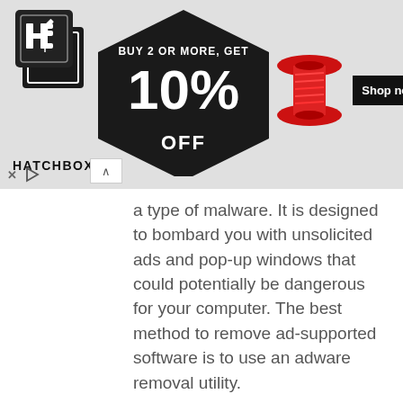[Figure (advertisement): Hatchbox 3D printing filament advertisement banner. Shows Hatchbox logo on left, hexagon badge in center reading 'BUY 2 OR MORE, GET 10% OFF', red filament spool on right, and 'Shop now' button. Ad controls (X and play icon) at bottom left.]
a type of malware. It is designed to bombard you with unsolicited ads and pop-up windows that could potentially be dangerous for your computer. The best method to remove ad-supported software is to use an adware removal utility.
The adware run in the background when you are online, and the adware can slow down your computer and affect its performance. There are programs that can remove adware from your computer and some of them are free and listed below, such as Zemana Free, MalwareBytes Free and Hitman Pro.
The worst is, the adware can collect lots of confidential information about you which